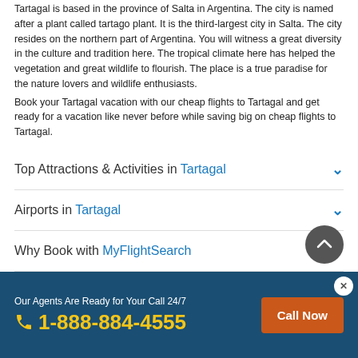Tartagal is based in the province of Salta in Argentina. The city is named after a plant called tartago plant. It is the third-largest city in Salta. The city resides on the northern part of Argentina. You will witness a great diversity in the culture and tradition here. The tropical climate here has helped the vegetation and great wildlife to flourish. The place is a true paradise for the nature lovers and wildlife enthusiasts.
Book your Tartagal vacation with our cheap flights to Tartagal and get ready for a vacation like never before while saving big on cheap flights to Tartagal.
Top Attractions & Activities in Tartagal
Airports in Tartagal
Why Book with MyFlightSearch
Make Your Travel Easier With Our App
Our Agents Are Ready for Your Call 24/7 | 1-888-884-4555 | Call Now